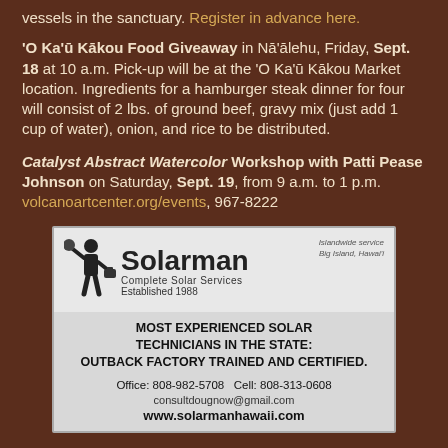vessels in the sanctuary. Register in advance here.
'O Ka'ū Kākou Food Giveaway in Nā'ālehu, Friday, Sept. 18 at 10 a.m. Pick-up will be at the 'O Ka'ū Kākou Market location. Ingredients for a hamburger steak dinner for four will consist of 2 lbs. of ground beef, gravy mix (just add 1 cup of water), onion, and rice to be distributed.
Catalyst Abstract Watercolor Workshop with Patti Pease Johnson on Saturday, Sept. 19, from 9 a.m. to 1 p.m. volcanoartcenter.org/events, 967-8222
[Figure (advertisement): Solarman Complete Solar Services advertisement. Islandwide service, Big Island, Hawaii. Established 1988. Most experienced solar technicians in the state: Outback factory trained and certified. Office: 808-982-5708, Cell: 808-313-0608, consultdougnow@gmail.com, www.solarmanhawaii.com]